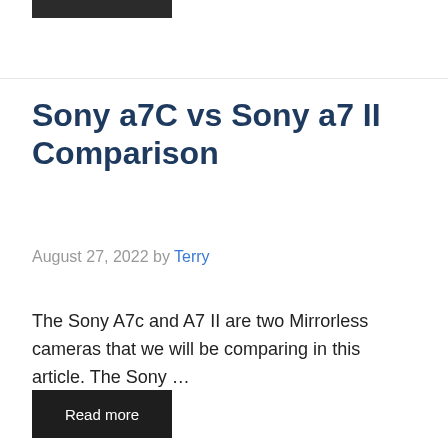Sony a7C vs Sony a7 II Comparison
August 27, 2022 by Terry
The Sony A7c and A7 II are two Mirrorless cameras that we will be comparing in this article. The Sony …
Read more